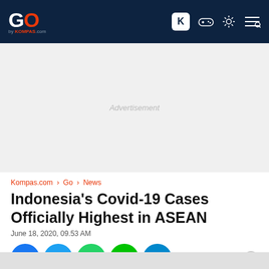GO by KOMPAS.com — navigation bar
[Figure (screenshot): Advertisement placeholder area]
Kompas.com › Go › News
Indonesia's Covid-19 Cases Officially Highest in ASEAN
June 18, 2020, 09.53 AM
[Figure (infographic): Social share buttons: Facebook, Twitter, WhatsApp, LINE, Telegram, Comments]